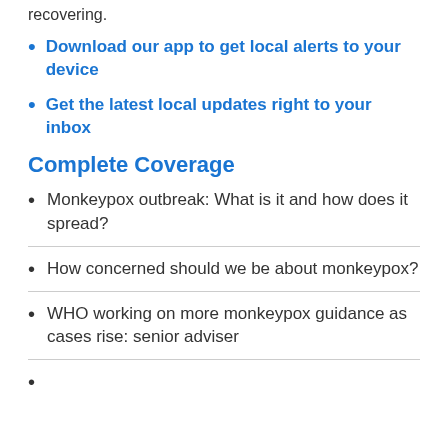recovering.
Download our app to get local alerts to your device
Get the latest local updates right to your inbox
Complete Coverage
Monkeypox outbreak: What is it and how does it spread?
How concerned should we be about monkeypox?
WHO working on more monkeypox guidance as cases rise: senior adviser
(This item appears to be cut off at the bottom)